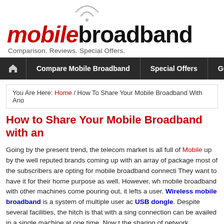[Figure (logo): mobilebroadband logo with wifi icon and tagline 'Comparison. Reviews. Special Offers.']
Compare Mobile Broadband | Special Offers | Guides
You Are Here: Home / How To Share Your Mobile Broadband With Ano...
How to Share Your Mobile Broadband with an...
Going by the present trend, the telecom market is all full of Mobile... up by the well reputed brands coming up with an array of package... most of the subscribers are opting for mobile broadband connecti... They want to have it for their home purpose as well. However, wh... mobile broadband with other machines come pouring out, it lefts a... user. Wireless mobile broadband is a system of multiple user ac... USB dongle. Despite several facilities, the hitch is that with a sing... connection can be availed in a single machine at one time. Now t... the sharing of network connection. But that does not really mean t...